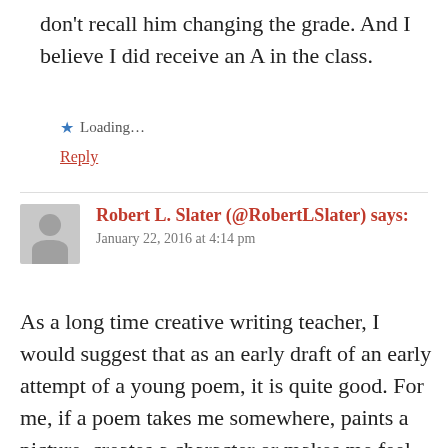don't recall him changing the grade. And I believe I did receive an A in the class.
★ Loading...
Reply
Robert L. Slater (@RobertLSlater) says:
January 22, 2016 at 4:14 pm
As a long time creative writing teacher, I would suggest that as an early draft of an early attempt of a young poem, it is quite good. For me, if a poem takes me somewhere, paints a picture, creates a character or makes me feel, it is a success.